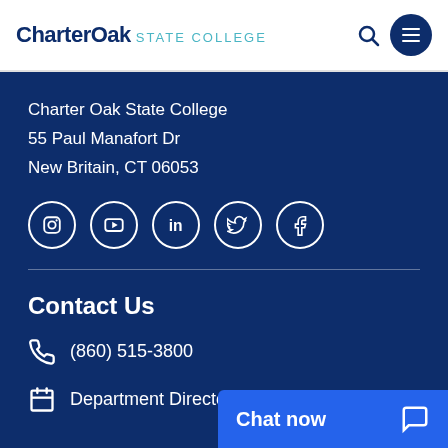CharterOak STATE COLLEGE
Charter Oak State College
55 Paul Manafort Dr
New Britain, CT 06053
[Figure (illustration): Social media icons: Instagram, YouTube, LinkedIn, Twitter, Facebook — white circle outlines on dark blue background]
Contact Us
(860) 515-3800
Department Directory
Chat now